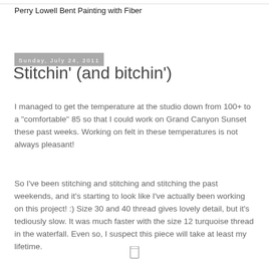Perry Lowell Bent Painting with Fiber
Sunday, July 24, 2011
Stitchin' (and bitchin')
I managed to get the temperature at the studio down from 100+ to a "comfortable" 85 so that I could work on Grand Canyon Sunset these past weeks.  Working on felt in these temperatures is not always pleasant!
So I've been stitching and stitching and stitching the past weekends, and it's starting to look like I've actually been working on this project!  :)  Size 30 and 40 thread gives lovely detail, but it's tediously slow.  It was much faster with the size 12 turquoise thread in the waterfall.  Even so, I suspect this piece will take at least my lifetime.